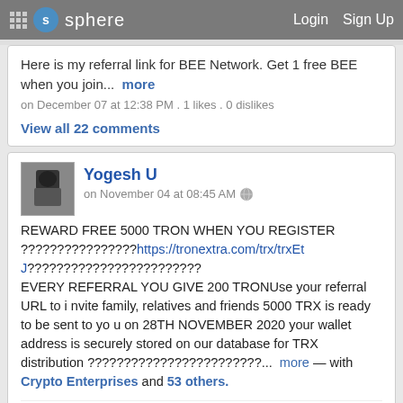sphere  Login  Sign Up
Here is my referral link for BEE Network. Get 1 free BEE when you join...  more
on December 07 at 12:38 PM . 1 likes . 0 dislikes
View all 22 comments
Yogesh U
on November 04 at 08:45 AM
REWARD FREE 5000 TRON WHEN YOU REGISTER ????????????????https://tronextra.com/trx/trxEtJ????????????????????????
EVERY REFERRAL YOU GIVE 200 TRONUse your referral URL to invite family, relatives and friends 5000 TRX is ready to be sent to you on 28TH NOVEMBER 2020 your wallet address is securely stored on our database for TRX distribution ????????????????????????...  more — with Crypto Enterprises and 53 others.
9 likes  0 dislikes